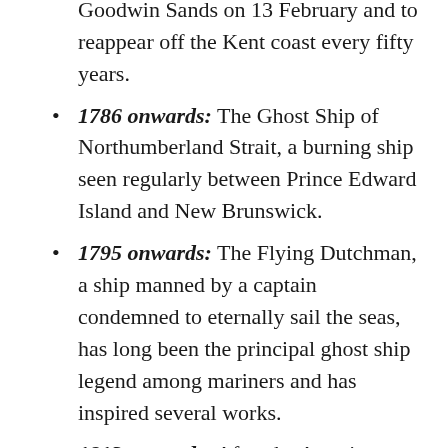(continuation) have been deliberately wrecked on Goodwin Sands on 13 February and to reappear off the Kent coast every fifty years.
1786 onwards: The Ghost Ship of Northumberland Strait, a burning ship seen regularly between Prince Edward Island and New Brunswick.
1795 onwards: The Flying Dutchman, a ship manned by a captain condemned to eternally sail the seas, has long been the principal ghost ship legend among mariners and has inspired several works.
1813 onwards: After the American schooner Young Teazer was sunk in an explosion during the War of 1812, a burning